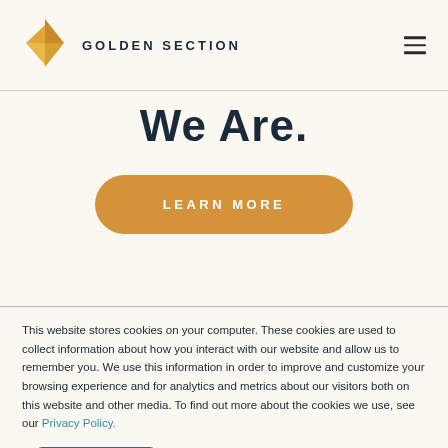GOLDEN SECTION
We Are.
[Figure (other): Orange pill-shaped 'LEARN MORE' button]
This website stores cookies on your computer. These cookies are used to collect information about how you interact with our website and allow us to remember you. We use this information in order to improve and customize your browsing experience and for analytics and metrics about our visitors both on this website and other media. To find out more about the cookies we use, see our Privacy Policy.
[Figure (other): Accept button (dark blue-grey rounded rectangle)]